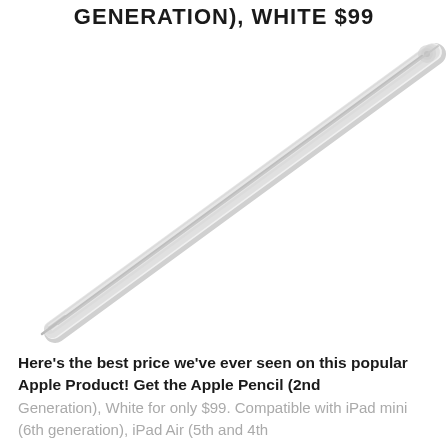GENERATION), WHITE $99
[Figure (photo): Apple Pencil (2nd Generation) in white, shown diagonally from lower-left to upper-right against a white background]
Here's the best price we've ever seen on this popular Apple Product! Get the Apple Pencil (2nd Generation), White for only $99. Compatible with iPad mini (6th generation), iPad Air (5th and 4th